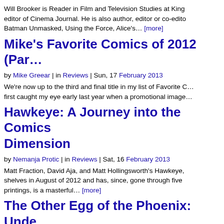Will Brooker is Reader in Film and Television Studies at King's editor of Cinema Journal. He is also author, editor or co-editor Batman Unmasked, Using the Force, Alice's… [more]
Mike's Favorite Comics of 2012 (Part…
by Mike Greear | in Reviews | Sun, 17 February 2013
We're now up to the third and final title in my list of Favorite C… first caught my eye early last year when a promotional image…
Hawkeye: A Journey into the Comics Dimension
by Nemanja Protic | in Reviews | Sat, 16 February 2013
Matt Fraction, David Aja, and Matt Hollingsworth's Hawkeye, shelves in August of 2012 and has, since, gone through five printings, is a masterful… [more]
The Other Egg of the Phoenix: Unde… Issue of Sandman
by Harry Edmundson-Cornell | in Articles | Fri, 15 February 2013